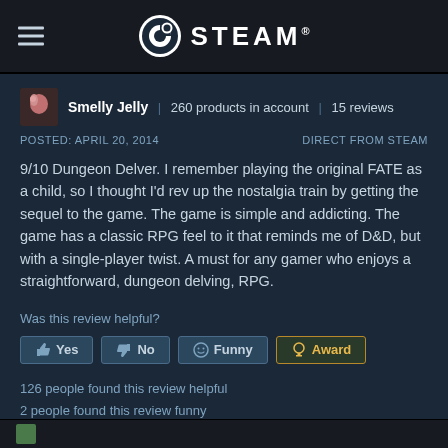STEAM
Smelly Jelly | 260 products in account | 15 reviews
POSTED: APRIL 20, 2014   DIRECT FROM STEAM
9/10 Dungeon Delver. I remember playing the original FATE as a child, so I thought I'd rev up the nostalgia train by getting the sequel to the game. The game is simple and addicting. The game has a classic RPG feel to it that reminds me of D&D, but with a single-player twist. A must for any gamer who enjoys a straightforward, dungeon delving, RPG.
Was this review helpful?
Yes  No  Funny  Award
126 people found this review helpful
2 people found this review funny